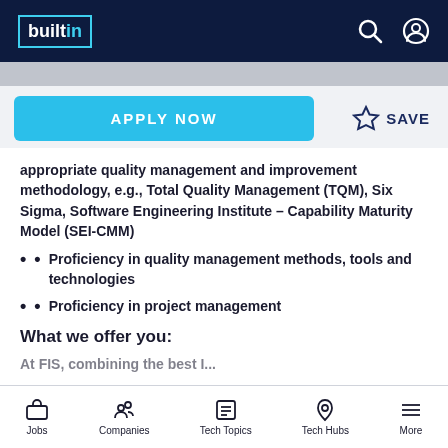builtin
APPLY NOW
SAVE
appropriate quality management and improvement methodology, e.g., Total Quality Management (TQM), Six Sigma, Software Engineering Institute - Capability Maturity Model (SEI-CMM)
Proficiency in quality management methods, tools and technologies
Proficiency in project management
What we offer you:
At FIS...
Jobs  Companies  Tech Topics  Tech Hubs  More